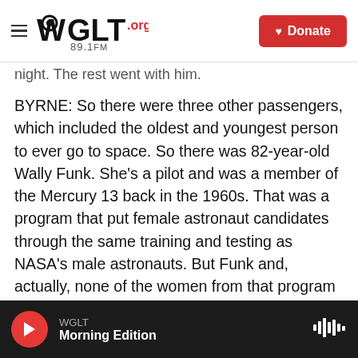WGLT.org 89.1FM — Donate
night. The rest went with him.
BYRNE: So there were three other passengers, which included the oldest and youngest person to ever go to space. So there was 82-year-old Wally Funk. She's a pilot and was a member of the Mercury 13 back in the 1960s. That was a program that put female astronaut candidates through the same training and testing as NASA's male astronauts. But Funk and, actually, none of the women from that program ever got the chance to go to space. Here she is speaking with StoryCorps back in 2017.
WGLT Morning Edition